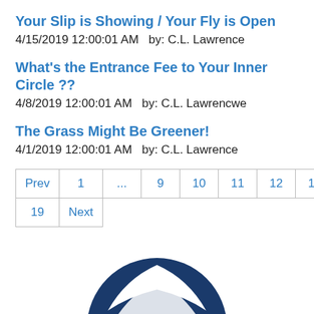Your Slip is Showing / Your Fly is Open
4/15/2019 12:00:01 AM  by: C.L. Lawrence
What's the Entrance Fee to Your Inner Circle ??
4/8/2019 12:00:01 AM  by: C.L. Lawrencwe
The Grass Might Be Greener!
4/1/2019 12:00:01 AM  by: C.L. Lawrence
| Prev | 1 | ... | 9 | 10 | 11 | 12 | 13 | ... |
| 19 | Next |
[Figure (logo): Partial circular logo with dark blue background and white wing-like design, partially visible at bottom of page]